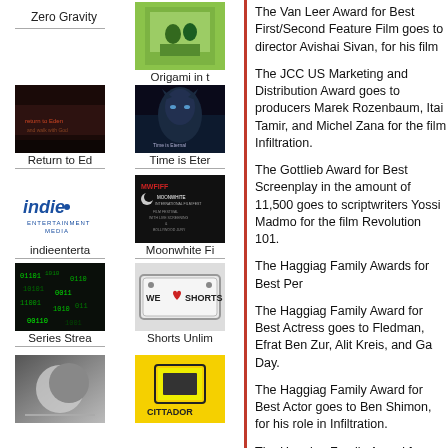Zero Gravity
[Figure (photo): Film thumbnail for Origami in t]
Origami in t
[Figure (photo): Film thumbnail for Return to Ed]
Return to Ed
[Figure (photo): Film thumbnail for Time is Eter]
Time is Eter
[Figure (logo): indieentertainment media logo]
indieenterta
[Figure (logo): Moonwhite International Film Fest logo]
Moonwhite Fi
[Figure (photo): Series Streaming thumbnail]
Series Strea
[Figure (logo): We Love Shorts logo]
Shorts Unlim
[Figure (photo): Logo/thumbnail at bottom left]
[Figure (logo): CITTADOR logo]
The Van Leer Award for Best First/Second Feature Film goes to director Avishai Sivan, for his film
The JCC US Marketing and Distribution Award goes to producers Marek Rozenbaum, Itai Tamir, and Michel Zana for the film Infiltration.
The Gottlieb Award for Best Screenplay in the amount of 11,500 goes to scriptwriters Yossi Madmo for the film Revolution 101.
The Haggiag Family Awards for Best Per
The Haggiag Family Award for Best Actress goes to Fledman, Efrat Ben Zur, Alit Kreis, and Ga Day.
The Haggiag Family Award for Best Actor goes to Ben Shimon, for his role in Infiltration.
The Haggiag Family Award for Editing in and Maor Keshet, for their editing work o
The Haggiag Family Award for Music in t Tager, for his work on the film Andante.
The Van Leer Award for Cinematography NIS, goes to Shai Goldman, for his work o